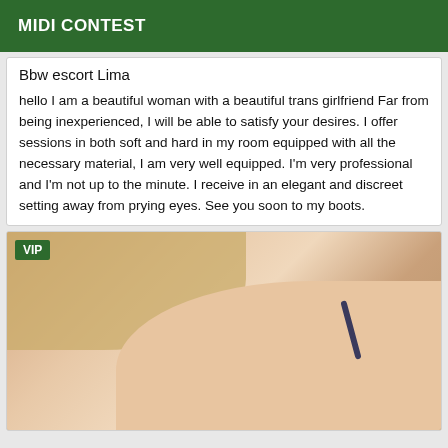MIDI CONTEST
Bbw escort Lima
hello I am a beautiful woman with a beautiful trans girlfriend Far from being inexperienced, I will be able to satisfy your desires. I offer sessions in both soft and hard in my room equipped with all the necessary material, I am very well equipped. I'm very professional and I'm not up to the minute. I receive in an elegant and discreet setting away from prying eyes. See you soon to my boots.
[Figure (photo): Photo of a blonde woman showing shoulder with a dark bra strap, skin-tone close-up. VIP badge in upper left corner.]